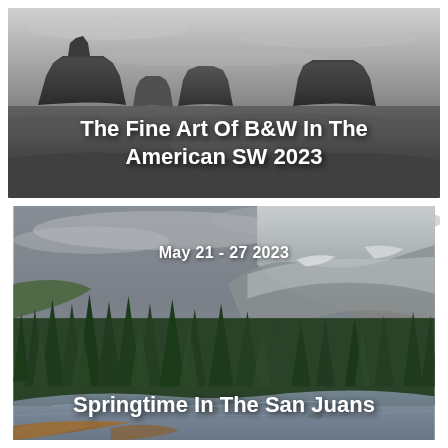[Figure (photo): Black and white landscape photograph of Monument Valley mesas (buttes) under a cloudy sky, with text overlay 'The Fine Art Of B&W In The American SW 2023']
The Fine Art Of B&W In The American SW 2023
[Figure (photo): Color landscape photograph of conifer trees and snow-capped mountains under a stormy grey sky with a river/stream in the foreground, text overlays 'May 21 - 27 2023' and 'Springtime In The San Juans']
May 21 - 27 2023
Springtime In The San Juans